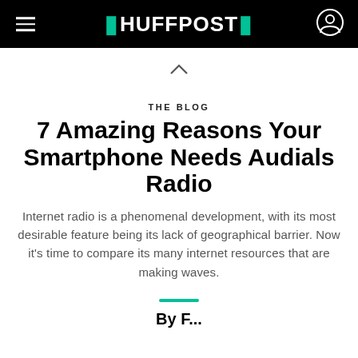HUFFPOST
THE BLOG
7 Amazing Reasons Your Smartphone Needs Audials Radio
Internet radio is a phenomenal development, with its most desirable feature being its lack of geographical barrier. Now it's time to compare its many internet resources that are making waves.